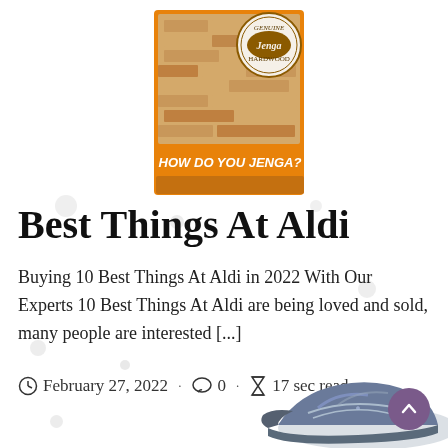[Figure (photo): Jenga game box with wooden blocks and orange packaging reading 'HOW DO YOU JENGA?' and 'Genuine Hardwood Jenga' logo]
Best Things At Aldi
Buying 10 Best Things At Aldi in 2022 With Our Experts 10 Best Things At Aldi are being loved and sold, many people are interested [...]
February 27, 2022  · 0  · 17 sec read
[Figure (photo): Blue/grey sneaker shoe partially visible at bottom right of page]